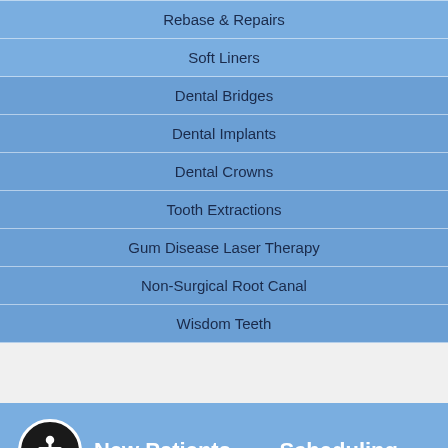Rebase & Repairs
Soft Liners
Dental Bridges
Dental Implants
Dental Crowns
Tooth Extractions
Gum Disease Laser Therapy
Non-Surgical Root Canal
Wisdom Teeth
New Patients
Scheduling